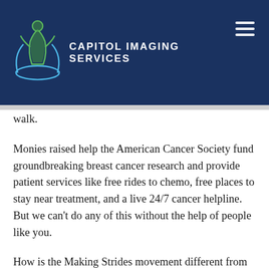[Figure (logo): Capitol Imaging Services logo with navigation header on dark navy blue background. Logo shows a green figure with circular design and the text CAPITOL IMAGING SERVICES in white uppercase letters. A hamburger menu icon is on the right.]
walk.
Monies raised help the American Cancer Society fund groundbreaking breast cancer research and provide patient services like free rides to chemo, free places to stay near treatment, and a live 24/7 cancer helpline. But we can't do any of this without the help of people like you.
How is the Making Strides movement different from other breast cancer walks? According to the ACS, funds are for more than just research. Help is given to breast cancer patients, survivors, thrivers and caregivers